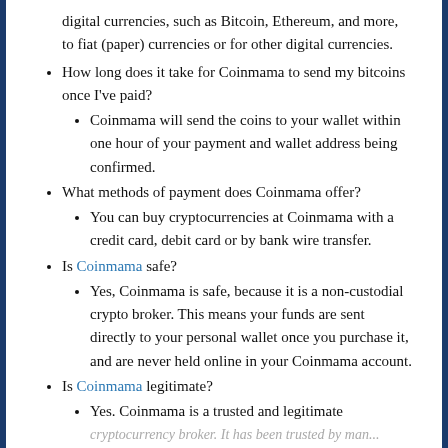digital currencies, such as Bitcoin, Ethereum, and more, to fiat (paper) currencies or for other digital currencies.
How long does it take for Coinmama to send my bitcoins once I've paid?
Coinmama will send the coins to your wallet within one hour of your payment and wallet address being confirmed.
What methods of payment does Coinmama offer?
You can buy cryptocurrencies at Coinmama with a credit card, debit card or by bank wire transfer.
Is Coinmama safe?
Yes, Coinmama is safe, because it is a non-custodial crypto broker. This means your funds are sent directly to your personal wallet once you purchase it, and are never held online in your Coinmama account.
Is Coinmama legitimate?
Yes. Coinmama is a trusted and legitimate cryptocurrency broker. It has been trusted by many...